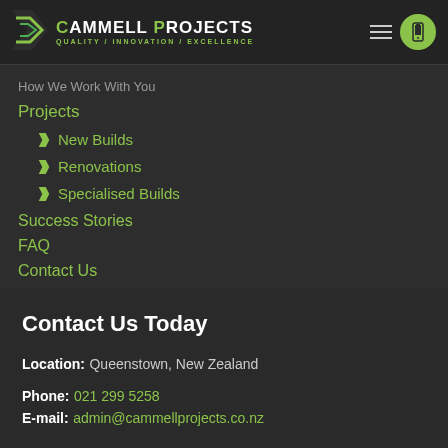[Figure (logo): Cammell Projects logo with chevron icon, text CAMMELL PROJECTS, tagline QUALITY / INNOVATION / EXCELLENCE, hamburger menu and phone icon button]
How We Work With You
Projects
New Builds
Renovations
Specialised Builds
Success Stories
FAQ
Contact Us
Contact Us Today
Location: Queenstown, New Zealand
Phone: 021 299 5258
E-mail: admin@cammellprojects.co.nz